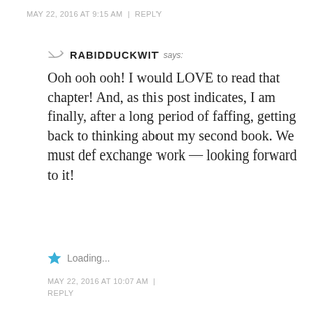MAY 22, 2016 AT 9:15 AM | REPLY
RABIDDUCKWIT says:
Ooh ooh ooh! I would LOVE to read that chapter! And, as this post indicates, I am finally, after a long period of faffing, getting back to thinking about my second book. We must def exchange work — looking forward to it!
Loading...
MAY 22, 2016 AT 10:07 AM | REPLY